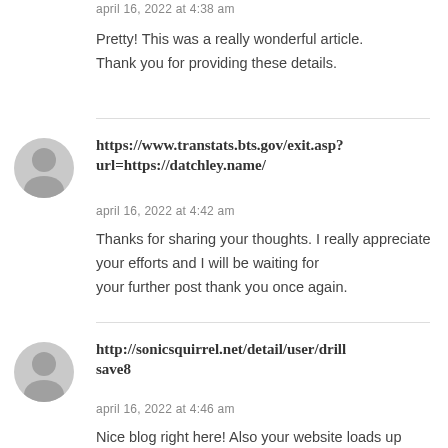april 16, 2022 at 4:38 am
Pretty! This was a really wonderful article.
Thank you for providing these details.
https://www.transtats.bts.gov/exit.asp?url=https://datchley.name/
april 16, 2022 at 4:42 am
Thanks for sharing your thoughts. I really appreciate your efforts and I will be waiting for your further post thank you once again.
http://sonicsquirrel.net/detail/user/drillsave8
april 16, 2022 at 4:46 am
Nice blog right here! Also your website loads up very fast!
What web host are you using? Can I am getting your